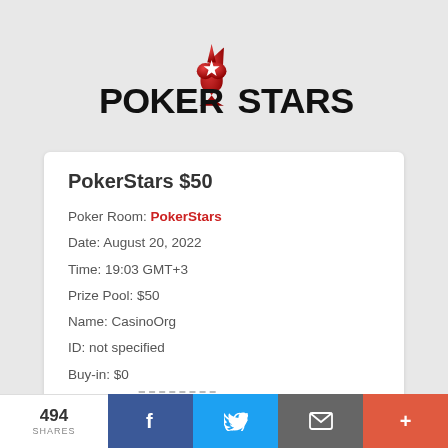[Figure (logo): PokerStars logo with red spade and star, bold black text POKERSTARS]
PokerStars $50
Poker Room: PokerStars
Date: August 20, 2022
Time: 19:03 GMT+3
Prize Pool: $50
Name: CasinoOrg
ID: not specified
Buy-in: $0
Password: vsw74ufg
494 SHARES